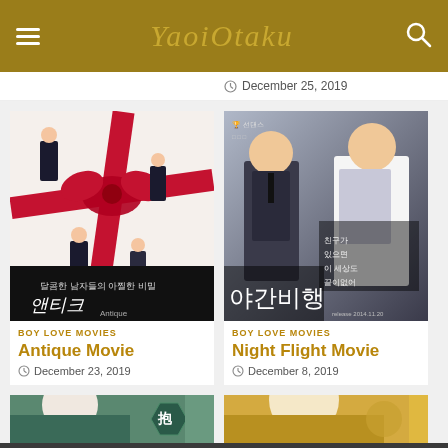YaoiOtaku
December 25, 2019
[Figure (photo): Movie poster for Antique Movie - Korean film showing men in chef/formal attire with red ribbon gift wrap design and Korean text]
[Figure (photo): Movie poster for Night Flight Movie - Korean film showing two young men in school uniforms with Korean text 야간비행]
BOY LOVE MOVIES
Antique Movie
December 23, 2019
BOY LOVE MOVIES
Night Flight Movie
December 8, 2019
[Figure (photo): Partial view of anime/manga style illustration with teal/green tones and Chinese characters 抱]
[Figure (photo): Partial view of anime/manga style illustration with warm golden tones showing stylized character]